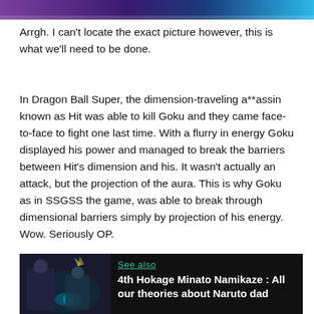[Figure (photo): Partial image with blue/purple gradient anime-style visual at top of page]
Arrgh. I can't locate the exact picture however, this is what we'll need to be done.
In Dragon Ball Super, the dimension-traveling a**assin known as Hit was able to kill Goku and they came face-to-face to fight one last time. With a flurry in energy Goku displayed his power and managed to break the barriers between Hit's dimension and his. It wasn't actually an attack, but the projection of the aura. This is why Goku as in SSGSS the game, was able to break through dimensional barriers simply by projection of his energy. Wow. Seriously OP.
[Figure (photo): Anime screenshot showing characters from Naruto - 4th Hokage Minato Namikaze related image]
See also
4th Hokage Minato Namikaze : All our theories about Naruto dad